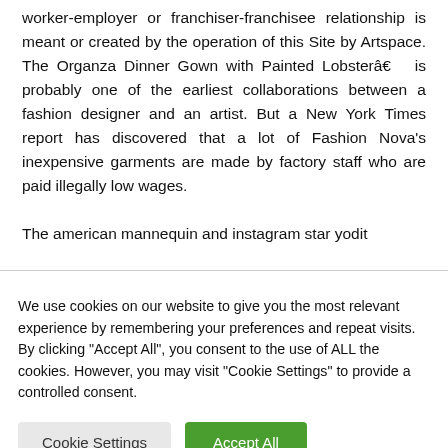worker-employer or franchiser-franchisee relationship is meant or created by the operation of this Site by Artspace. The Organza Dinner Gown with Painted Lobsterâ€ is probably one of the earliest collaborations between a fashion designer and an artist. But a New York Times report has discovered that a lot of Fashion Nova's inexpensive garments are made by factory staff who are paid illegally low wages.

The american mannequin and instagram star yodit
We use cookies on our website to give you the most relevant experience by remembering your preferences and repeat visits. By clicking "Accept All", you consent to the use of ALL the cookies. However, you may visit "Cookie Settings" to provide a controlled consent.